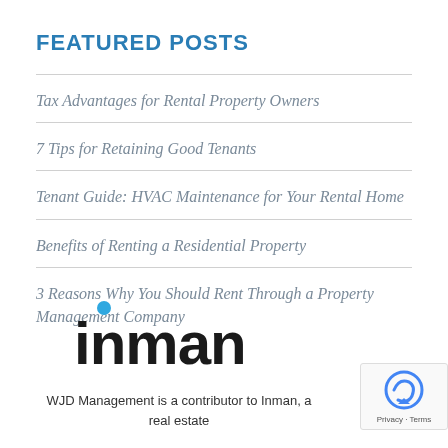FEATURED POSTS
Tax Advantages for Rental Property Owners
7 Tips for Retaining Good Tenants
Tenant Guide: HVAC Maintenance for Your Rental Home
Benefits of Renting a Residential Property
3 Reasons Why You Should Rent Through a Property Management Company
[Figure (logo): Inman logo with blue dot above the letter i and bold lowercase 'inman' wordmark]
WJD Management is a contributor to Inman, a real estate